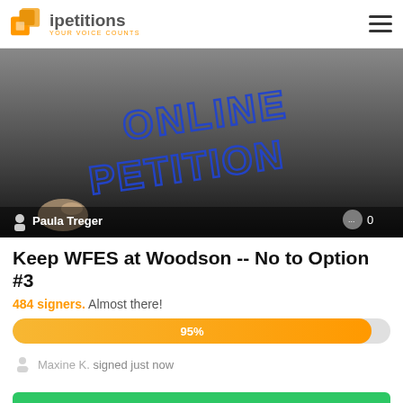ipetitions YOUR VOICE COUNTS
[Figure (photo): Hero image of a hand writing 'ONLINE PETITION' in blue marker on a dark/grey background, with author 'Paula Treger' and comment count '0' overlaid at the bottom]
Keep WFES at Woodson -- No to Option #3
484 signers. Almost there!
[Figure (infographic): Progress bar showing 95% completion, orange fill on grey background]
Maxine K. signed just now
SIGN PETITION